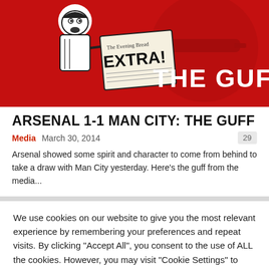[Figure (illustration): Red background with Arsenal cannon logo. Black and white cartoon of a newsboy holding a newspaper that says 'The Evening Bread EXTRA!' with bold text 'THE GUFF' in white on the red background.]
ARSENAL 1-1 MAN CITY: THE GUFF
Media   March 30, 2014   29
Arsenal showed some spirit and character to come from behind to take a draw with Man City yesterday. Here's the guff from the media...
We use cookies on our website to give you the most relevant experience by remembering your preferences and repeat visits. By clicking "Accept All", you consent to the use of ALL the cookies. However, you may visit "Cookie Settings" to provide a controlled consent.
Cookie Settings   Accept All